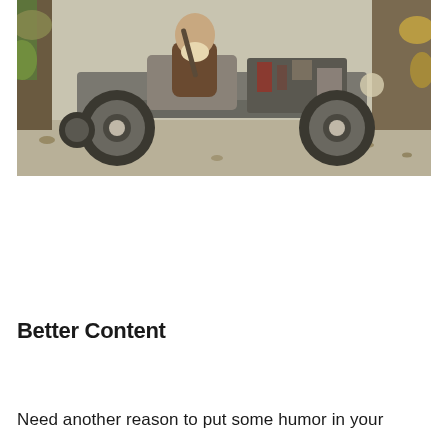[Figure (photo): A bearded man wearing a sleeveless vest riding a custom-built rat rod vehicle with large exposed tires and visible engine components, parked on gravel surrounded by autumn leaves and wooden structures.]
Better Content
Need another reason to put some humor in your